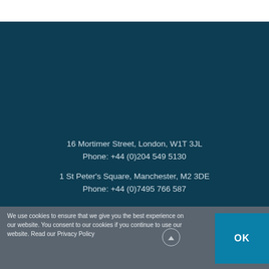16 Mortimer Street, London, W1T 3JL
Phone: +44 (0)204 549 5130
1 St Peter's Square, Manchester, M2 3DE
Phone: +44 (0)7495 766 587
We use cookies to ensure that we give you the best experience on our website. You consent to our cookies if you continue to use our website. Read our Privacy Policy
OK